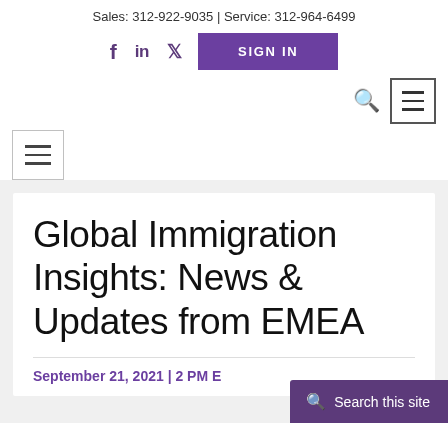Sales: 312-922-9035 | Service: 312-964-6499
f   in   τ   SIGN IN
Global Immigration Insights: News & Updates from EMEA
September 21, 2021 | 2 PM E